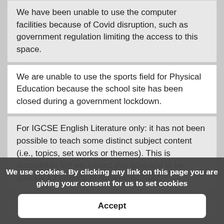We have been unable to use the computer facilities because of Covid disruption, such as government regulation limiting the access to this space.
We are unable to use the sports field for Physical Education because the school site has been closed during a government lockdown.
For IGCSE English Literature only: it has not been possible to teach some distinct subject content (i.e., topics, set works or themes). This is acceptable but we expect this scenario to be unlikely for cohorts in November 2022.
Unacceptable reasons
We have issues with the timetabling of some components for exam series.
We use cookies. By clicking any link on this page you are giving your consent for us to set cookies